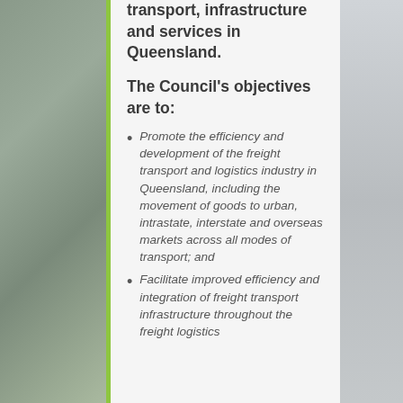transport, infrastructure and services in Queensland.
The Council's objectives are to:
Promote the efficiency and development of the freight transport and logistics industry in Queensland, including the movement of goods to urban, intrastate, interstate and overseas markets across all modes of transport; and
Facilitate improved efficiency and integration of freight transport infrastructure throughout the freight logistics
[Figure (photo): Construction scaffolding and crane on the left side of the page]
[Figure (photo): Grey infrastructure/building photo on the right side of the page]